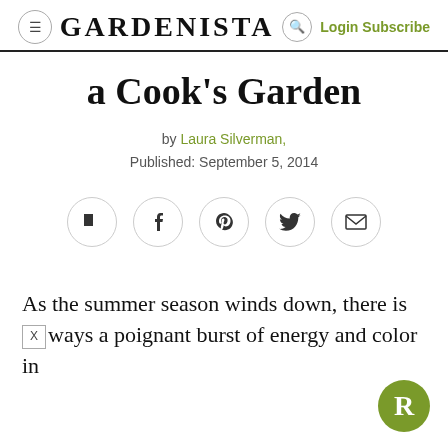GARDENISTA  Login Subscribe
a Cook's Garden
by Laura Silverman, Published: September 5, 2014
[Figure (other): Social sharing icons: Flipboard, Facebook, Pinterest, Twitter, Email]
As the summer season winds down, there is ways a poignant burst of energy and color in